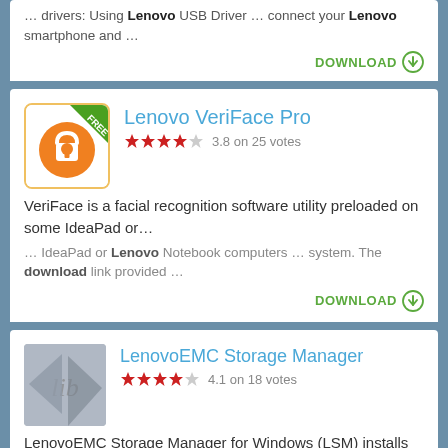… drivers: Using Lenovo USB Driver … connect your Lenovo smartphone and …
DOWNLOAD
Lenovo VeriFace Pro
3.8 on 25 votes
VeriFace is a facial recognition software utility preloaded on some IdeaPad or…
… IdeaPad or Lenovo Notebook computers … system. The download link provided …
DOWNLOAD
LenovoEMC Storage Manager
4.1 on 18 votes
LenovoEMC Storage Manager for Windows (LSM) installs on Windows-based PCs to…
… to LenovoEMC, Lenovo, and Iomega …